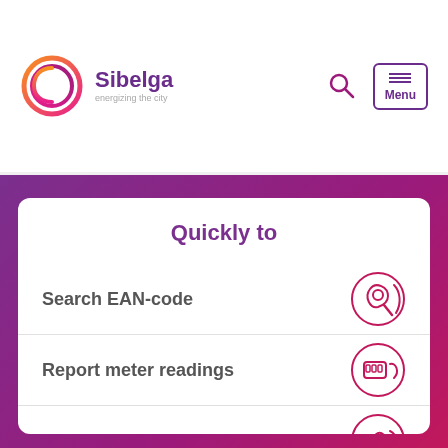[Figure (logo): Sibelga logo — circular swirl in orange/red/pink/purple gradient with company name 'Sibelga' and tagline 'energizing the city']
Sibelga — energizing the city
Quickly to
Search EAN-code
Report meter readings
Street lightning cut
Request work